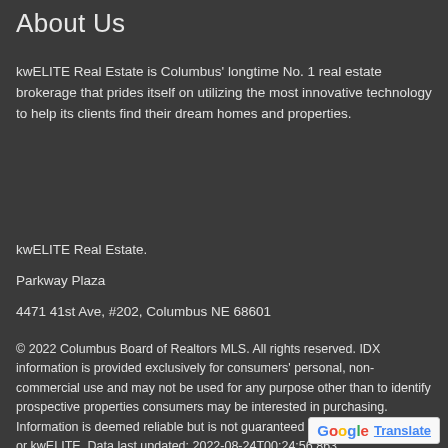About Us
kwELITE Real Estate is Columbus' longtime No. 1 real estate brokerage that prides itself on utilizing the most innovative technology to help its clients find their dream homes and properties.
kwELITE Real Estate.
Parkway Plaza
4471 41st Ave, #202, Columbus NE 68601
© 2022 Columbus Board of Realtors MLS. All rights reserved. IDX information is provided exclusively for consumers' personal, non-commercial use and may not be used for any purpose other than to identify prospective properties consumers may be interested in purchasing. Information is deemed reliable but is not guaranteed accurate by the MLS or kwELITE. Data last updated: 2022-08-24T00:24:56.863.